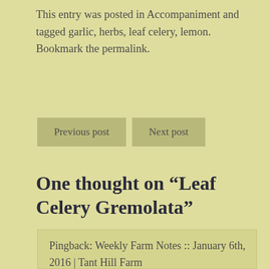This entry was posted in Accompaniment and tagged garlic, herbs, leaf celery, lemon. Bookmark the permalink.
Previous post   Next post
One thought on “Leaf Celery Gremolata”
Pingback: Weekly Farm Notes :: January 6th, 2016 | Tant Hill Farm